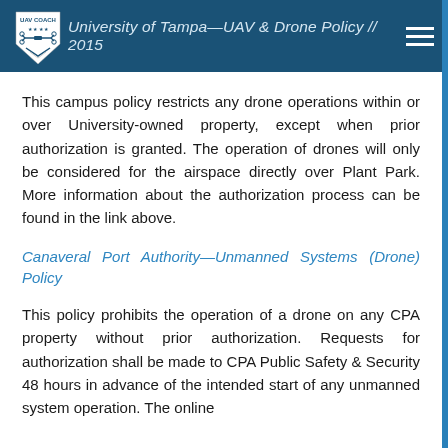University of Tampa—UAV & Drone Policy // 2015
This campus policy restricts any drone operations within or over University-owned property, except when prior authorization is granted. The operation of drones will only be considered for the airspace directly over Plant Park. More information about the authorization process can be found in the link above.
Canaveral Port Authority—Unmanned Systems (Drone) Policy
This policy prohibits the operation of a drone on any CPA property without prior authorization. Requests for authorization shall be made to CPA Public Safety & Security 48 hours in advance of the intended start of any unmanned system operation. The online